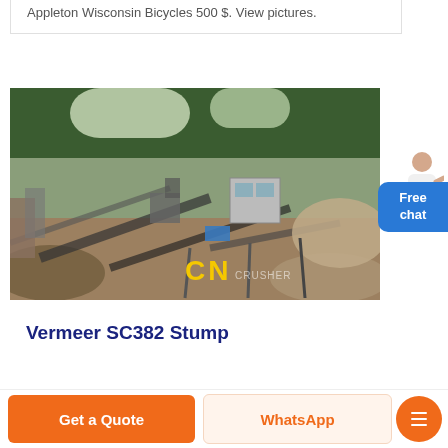Appleton Wisconsin Bicycles 500 $. View pictures.
[Figure (photo): Aerial/overhead view of an industrial stone crushing or quarrying site with conveyor belts, machinery, gravel piles, trees in background, and yellow 'CN' watermark and 'CRUSHER' text overlay]
Vermeer SC382 Stump
Free chat
Get a Quote
WhatsApp